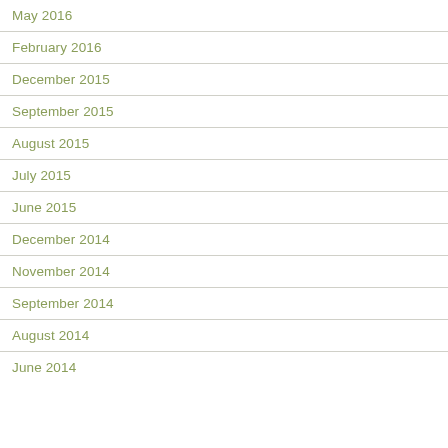May 2016
February 2016
December 2015
September 2015
August 2015
July 2015
June 2015
December 2014
November 2014
September 2014
August 2014
June 2014